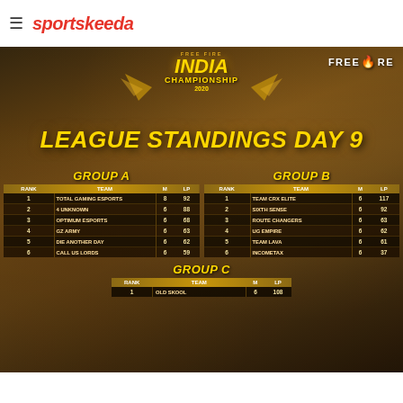sportskeeda
[Figure (screenshot): Free Fire India Championship 2020 - League Standings Day 9 screenshot showing Group A, Group B, and partial Group C standings tables on a dark golden game-themed background]
| RANK | TEAM | M | LP |
| --- | --- | --- | --- |
| 1 | TOTAL GAMING ESPORTS | 8 | 92 |
| 2 | 4 UNKNOWN | 6 | 88 |
| 3 | OPTIMUM ESPORTS | 6 | 68 |
| 4 | GZ ARMY | 6 | 63 |
| 5 | DIE ANOTHER DAY | 6 | 62 |
| 6 | CALL US LORDS | 6 | 59 |
| RANK | TEAM | M | LP |
| --- | --- | --- | --- |
| 1 | TEAM CRX ELITE | 6 | 117 |
| 2 | SIXTH SENSE | 6 | 92 |
| 3 | ROUTE CHANGERS | 6 | 63 |
| 4 | UG EMPIRE | 6 | 62 |
| 5 | TEAM LAVA | 6 | 61 |
| 6 | INCOMETAX | 6 | 37 |
| RANK | TEAM | M | LP |
| --- | --- | --- | --- |
| 1 | OLD SKOOL | 6 | 108 |